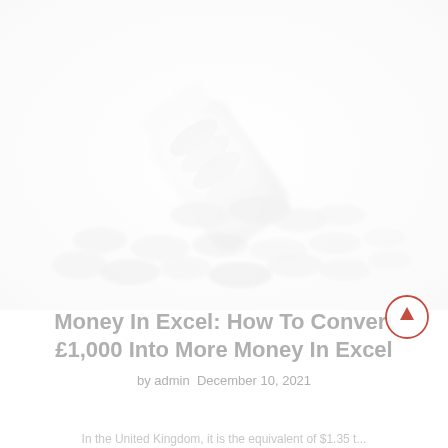[Figure (photo): Faded, washed-out photo of coins spilling out of a clear plastic pill/coin bottle, scattered on a white surface. Very light/pale look with high exposure.]
Money In Excel: How To Convert £1,000 Into More Money In Excel
by admin  December 10, 2021
In the United Kingdom, it is the equivalent of $1.35 t...